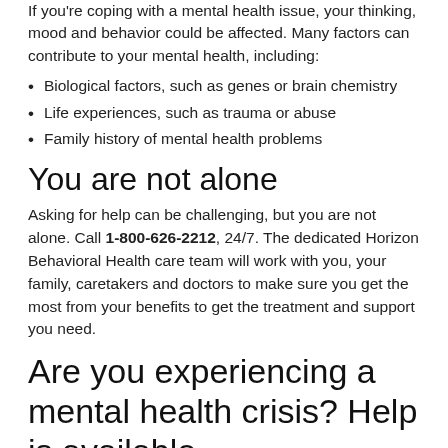If you're coping with a mental health issue, your thinking, mood and behavior could be affected. Many factors can contribute to your mental health, including:
Biological factors, such as genes or brain chemistry
Life experiences, such as trauma or abuse
Family history of mental health problems
You are not alone
Asking for help can be challenging, but you are not alone. Call 1-800-626-2212, 24/7. The dedicated Horizon Behavioral Health care team will work with you, your family, caretakers and doctors to make sure you get the most from your benefits to get the treatment and support you need.
Are you experiencing a mental health crisis? Help is available.
For many, the COVID-19 public health emergency has